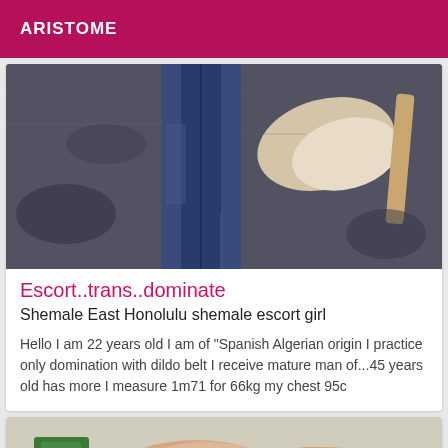ARISTOME
[Figure (photo): Close-up photo of legs in blue jeans on a dark shaggy carpet, with a light-colored sock visible]
Escort..trans..dominate
Shemale East Honolulu shemale escort girl
Hello I am 22 years old I am of "Spanish Algerian origin I practice only domination with dildo belt I receive mature man of...45 years old has more I measure 1m71 for 66kg my chest 95c
[Figure (photo): Partial photo showing legs and feet on a light background with green and skin-toned elements visible]